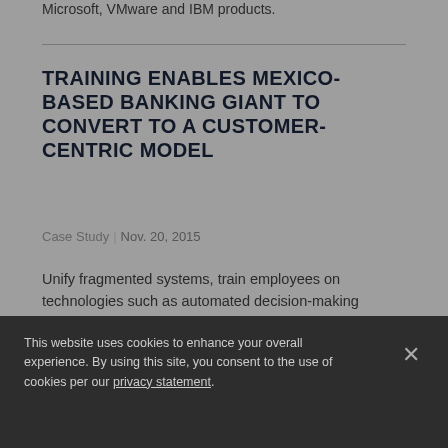Microsoft, VMware and IBM products.
TRAINING ENABLES MEXICO-BASED BANKING GIANT TO CONVERT TO A CUSTOMER-CENTRIC MODEL
Case Study | Nov. 20, 2015
Unify fragmented systems, train employees on technologies such as automated decision-making programs, application development, data management, IT best practices.
This website uses cookies to enhance your overall experience. By using this site, you consent to the use of cookies per our privacy statement.